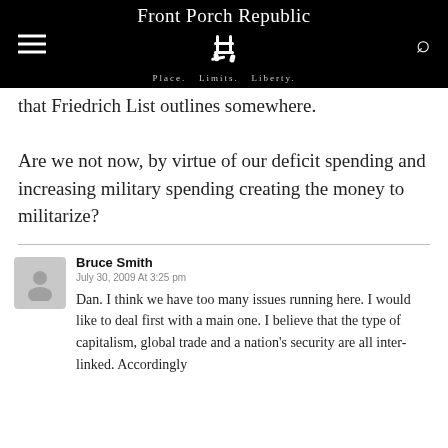Front Porch Republic — Place. Limits. Liberty.
that Friedrich List outlines somewhere. Are we not now, by virtue of our deficit spending and increasing military spending creating the money to militarize?
Bruce Smith
July 30, 2009 At 3:25 pm
Dan. I think we have too many issues running here. I would like to deal first with a main one. I believe that the type of capitalism, global trade and a nation's security are all inter-linked. Accordingly